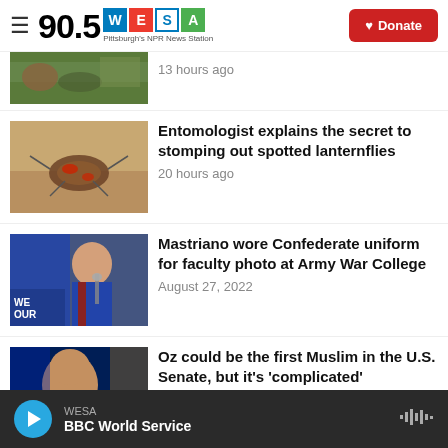90.5 WESA Pittsburgh's NPR News Station | Donate
[Figure (photo): Partial thumbnail of nature/animal photo at top]
13 hours ago
[Figure (photo): Close-up photo of a spotted lanternfly insect on ground]
Entomologist explains the secret to stomping out spotted lanternflies
20 hours ago
[Figure (photo): Photo of Mastriano in blue suit speaking at podium with WE OUR signs]
Mastriano wore Confederate uniform for faculty photo at Army War College
August 27, 2022
[Figure (photo): Photo of Oz speaking against dark blue background]
Oz could be the first Muslim in the U.S. Senate, but it's 'complicated'
WESA BBC World Service